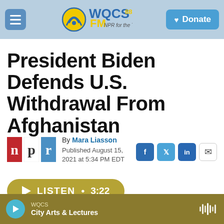WQCS 88.9 FM — NPR for the Treasure Coast | Donate
President Biden Defends U.S. Withdrawal From Afghanistan
By Mara Liasson
Published August 15, 2021 at 5:34 PM EDT
[Figure (logo): NPR logo (n p r in red, white, and blue blocks)]
LISTEN • 3:22
WQCS — City Arts & Lectures